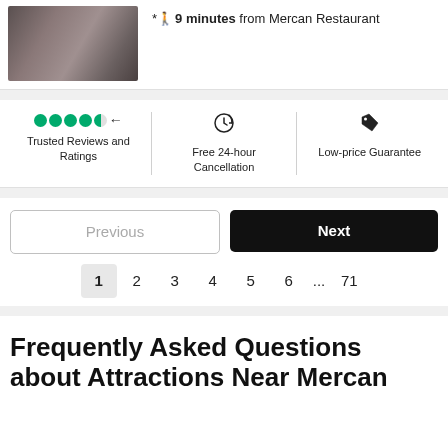[Figure (photo): Photo of people dining at a restaurant table with drinks and food]
* 9 minutes from Mercan Restaurant
[Figure (infographic): Trust bar with three sections: Trusted Reviews and Ratings (with green dots and arrow icon), Free 24-hour Cancellation (with clock icon), Low-price Guarantee (with tag icon)]
Previous | Next
1  2  3  4  5  6  ...  71
Frequently Asked Questions about Attractions Near Mercan